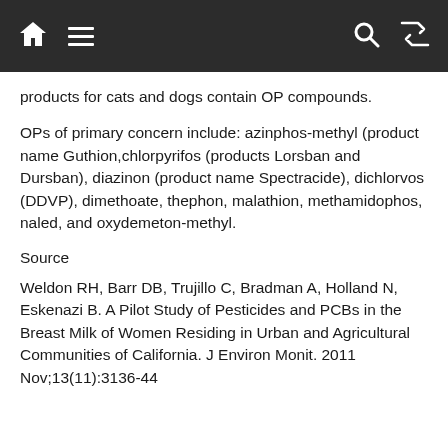Navigation bar with home, menu, search, and shuffle icons
products for cats and dogs contain OP compounds.
OPs of primary concern include: azinphos-methyl (product name Guthion,chlorpyrifos (products Lorsban and Dursban), diazinon (product name Spectracide), dichlorvos (DDVP), dimethoate, thephon, malathion, methamidophos, naled, and oxydemeton-methyl.
Source
Weldon RH, Barr DB, Trujillo C, Bradman A, Holland N, Eskenazi B. A Pilot Study of Pesticides and PCBs in the Breast Milk of Women Residing in Urban and Agricultural Communities of California. J Environ Monit. 2011 Nov;13(11):3136-44